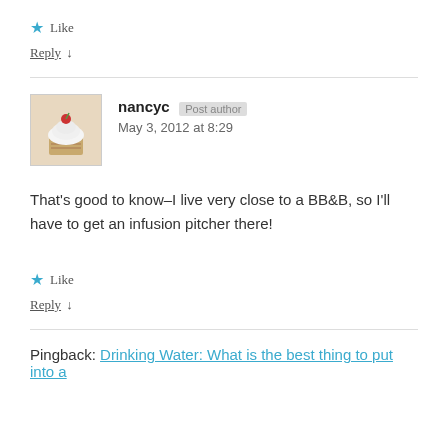★ Like
Reply ↓
nancyc  Post author
May 3, 2012 at 8:29
That's good to know–I live very close to a BB&B, so I'll have to get an infusion pitcher there!
★ Like
Reply ↓
Pingback: Drinking Water: What is the best thing to put into a